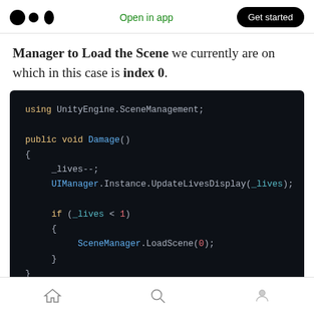Medium logo | Open in app | Get started
Manager to Load the Scene we currently are on which in this case is index 0.
[Figure (screenshot): Code snippet in dark theme showing Unity C# code: using UnityEngine.SceneManagement; public void Damage() { _lives--; UIManager.Instance.UpdateLivesDisplay(_lives); if (_lives < 1) { SceneManager.LoadScene(0); } }]
Restart the game if the Player ends up with zero lives